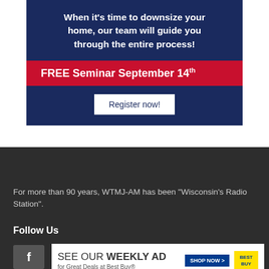[Figure (infographic): Advertisement banner with dark navy background. Top section says 'When it's time to downsize your home, our team will guide you through the entire process!' in white bold text. Red bar reads 'FREE Seminar September 14th'. Navy bottom has a white 'Register now!' button.]
For more than 90 years, WTMJ-AM has been "Wisconsin's Radio Station".
Follow Us
[Figure (infographic): Best Buy weekly ad banner: 'SEE OUR WEEKLY AD for Great Deals at Best Buy® SHOP NOW' with Best Buy yellow logo on right.]